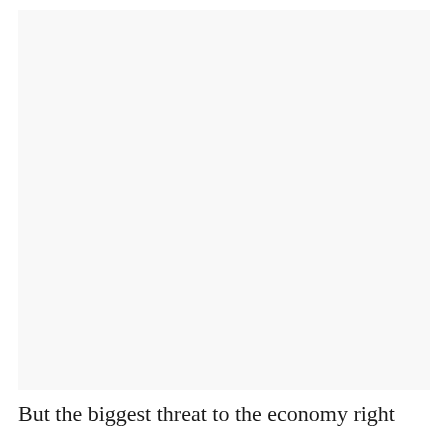[Figure (other): Large blank or near-blank light grey image area occupying the upper portion of the page]
But the biggest threat to the economy right